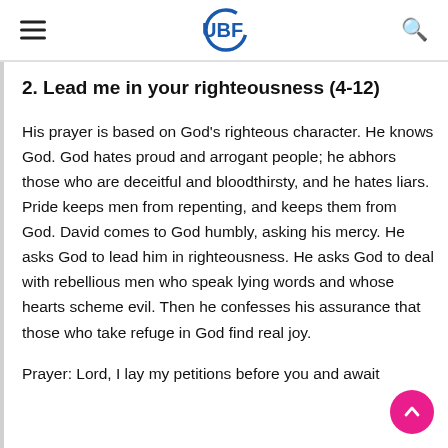UBF
2. Lead me in your righteousness (4-12)
His prayer is based on God's righteous character. He knows God. God hates proud and arrogant people; he abhors those who are deceitful and bloodthirsty, and he hates liars. Pride keeps men from repenting, and keeps them from God. David comes to God humbly, asking his mercy. He asks God to lead him in righteousness. He asks God to deal with rebellious men who speak lying words and whose hearts scheme evil. Then he confesses his assurance that those who take refuge in God find real joy.
Prayer: Lord, I lay my petitions before you and await